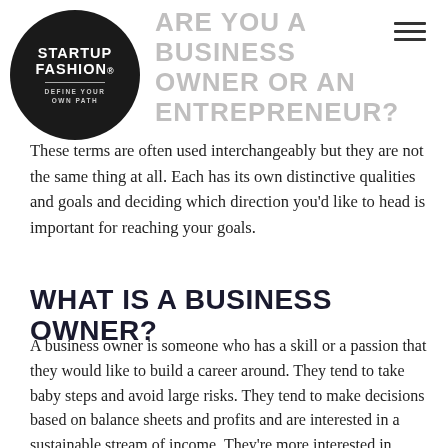[Figure (logo): Startup Fashion logo — dark circle with white text reading STARTUP FASHION. and tagline DEFINE YOUR OWN PATH]
ARE YOU A BUSINESS OWNER OR AN ENTREPRENEUR?
These terms are often used interchangeably but they are not the same thing at all. Each has its own distinctive qualities and goals and deciding which direction you'd like to head is important for reaching your goals.
WHAT IS A BUSINESS OWNER?
A business owner is someone who has a skill or a passion that they would like to build a career around.  They tend to take baby steps and avoid large risks.  They tend to make decisions based on balance sheets and profits and are interested in a sustainable stream of income.  They're more interested in creating the now versus creating the future.